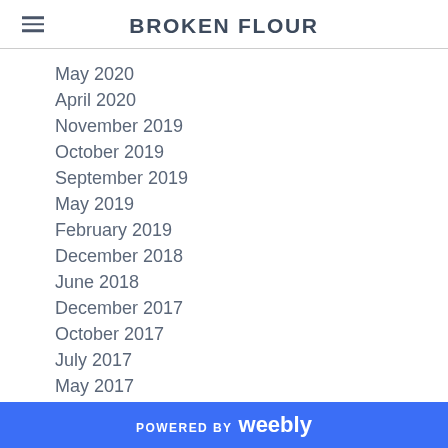BROKEN FLOUR
May 2020
April 2020
November 2019
October 2019
September 2019
May 2019
February 2019
December 2018
June 2018
December 2017
October 2017
July 2017
May 2017
March 2017
January 2017
October 2016
POWERED BY weebly